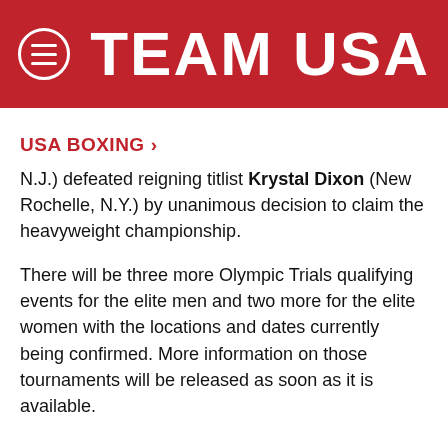TEAM USA
USA BOXING
N.J.) defeated reigning titlist Krystal Dixon (New Rochelle, N.Y.) by unanimous decision to claim the heavyweight championship.
There will be three more Olympic Trials qualifying events for the elite men and two more for the elite women with the locations and dates currently being confirmed. More information on those tournaments will be released as soon as it is available.
Saturday's Championship Bout Results